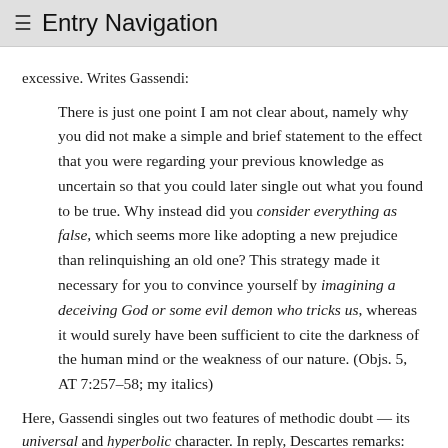≡ Entry Navigation
excessive. Writes Gassendi:
There is just one point I am not clear about, namely why you did not make a simple and brief statement to the effect that you were regarding your previous knowledge as uncertain so that you could later single out what you found to be true. Why instead did you consider everything as false, which seems more like adopting a new prejudice than relinquishing an old one? This strategy made it necessary for you to convince yourself by imagining a deceiving God or some evil demon who tricks us, whereas it would surely have been sufficient to cite the darkness of the human mind or the weakness of our nature. (Objs. 5, AT 7:257–58; my italics)
Here, Gassendi singles out two features of methodic doubt — its universal and hyperbolic character. In reply, Descartes remarks:
You say that...